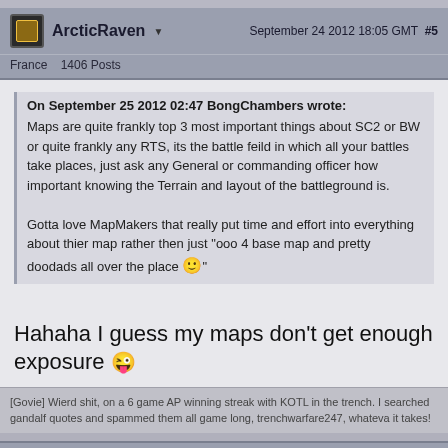ArcticRaven    September 24 2012 18:05 GMT  #5
France  1406 Posts
On September 25 2012 02:47 BongChambers wrote:
Maps are quite frankly top 3 most important things about SC2 or BW or quite frankly any RTS, its the battle feild in which all your battles take places, just ask any General or commanding officer how important knowing the Terrain and layout of the battleground is.

Gotta love MapMakers that really put time and effort into everything about thier map rather then just "ooo 4 base map and pretty doodads all over the place 🙂"
Hahaha I guess my maps don't get enough exposure 😉
[Govie] Wierd shit, on a 6 game AP winning streak with KOTL in the trench. I searched gandalf quotes and spammed them all game long, trenchwarfare247, whateva it takes!
NewSunshine    September 24 2012 19:57 GMT  #6
We use cookies on our website. Some information may be shared with 3rd parties.  Accept Cookies  More Information